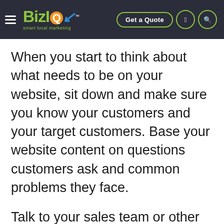[Figure (logo): BizIQ smart local marketing logo with hamburger menu, Get a Quote button, and two icon buttons on dark navy header bar]
When you start to think about what needs to be on your website, sit down and make sure you know your customers and your target customers. Base your website content on questions customers ask and common problems they face.
Talk to your sales team or other employees. What are customers asking them? What are their frustrations?